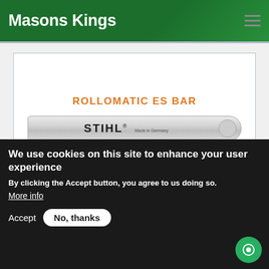Masons Kings
[Figure (photo): Product image box showing ROLLOMATIC ES BAR text in orange and a STIHL guide bar at the bottom]
We use cookies on this site to enhance your user experience
By clicking the Accept button, you agree to us doing so.
More info
Accept
No, thanks